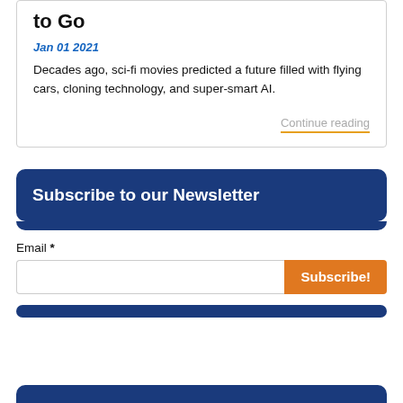to Go
Jan 01 2021
Decades ago, sci-fi movies predicted a future filled with flying cars, cloning technology, and super-smart AI.
Continue reading
Subscribe to our Newsletter
Email *
Subscribe!